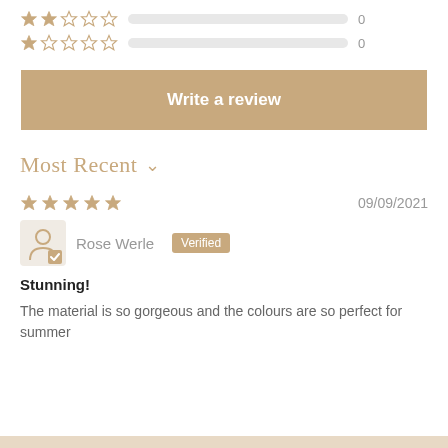[Figure (other): 2-star rating row with empty progress bar and count 0]
[Figure (other): 1-star rating row with empty progress bar and count 0]
Write a review
Most Recent
[Figure (other): 5-star rating display for review dated 09/09/2021]
Rose Werle  Verified
Stunning!
The material is so gorgeous and the colours are so perfect for summer